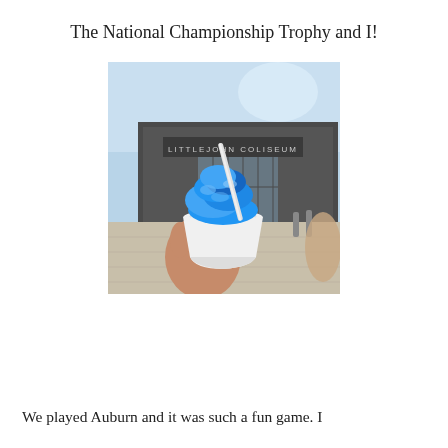The National Championship Trophy and I!
[Figure (photo): A hand holding a white styrofoam cup with blue snow cone/shaved ice and a straw, in front of Littlejohn Coliseum building on a sunny day.]
We played Auburn and it was such a fun game. I